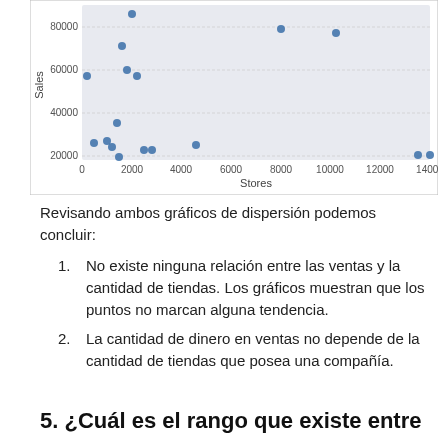[Figure (continuous-plot): Scatter plot with x-axis labeled 'Stores' (0 to 14000) and y-axis labeled 'Sales' (20000 to 80000+). About 15 data points distributed with no clear trend. Light blue/grey background.]
Revisando ambos gráficos de dispersión podemos concluir:
No existe ninguna relación entre las ventas y la cantidad de tiendas. Los gráficos muestran que los puntos no marcan alguna tendencia.
La cantidad de dinero en ventas no depende de la cantidad de tiendas que posea una compañía.
5. ¿Cuál es el rango que existe entre